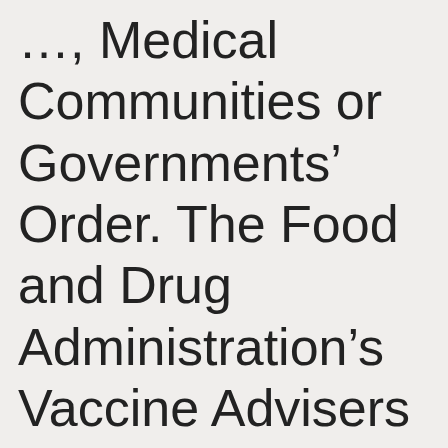…, Medical Communities or Governments' Order. The Food and Drug Administration's Vaccine Advisers Gave a Thumbs-up to Kill Shot Vaccines from Moderna and Pfizer for the Littlest Kids.